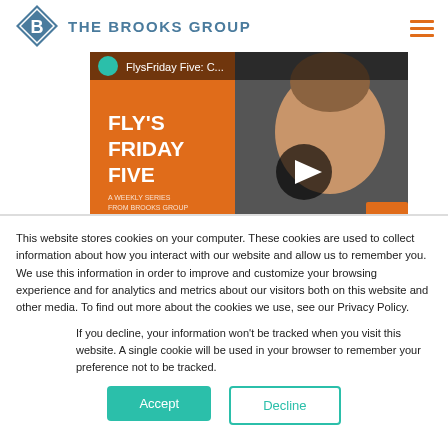THE BROOKS GROUP
[Figure (screenshot): Video thumbnail showing 'Fly's Friday Five' with a play button overlay, featuring a man's face and orange branding on the left]
This website stores cookies on your computer. These cookies are used to collect information about how you interact with our website and allow us to remember you. We use this information in order to improve and customize your browsing experience and for analytics and metrics about our visitors both on this website and other media. To find out more about the cookies we use, see our Privacy Policy.
If you decline, your information won't be tracked when you visit this website. A single cookie will be used in your browser to remember your preference not to be tracked.
Accept  Decline